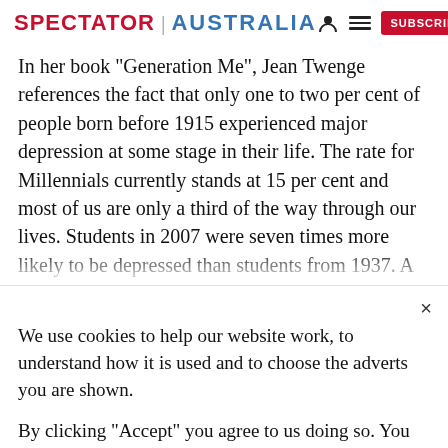SPECTATOR | AUSTRALIA
In her book "Generation Me", Jean Twenge references the fact that only one to two per cent of people born before 1915 experienced major depression at some stage in their life. The rate for Millennials currently stands at 15 per cent and most of us are only a third of the way through our lives. Students in 2007 were seven times more likely to be depressed than students from 1937. A
We use cookies to help our website work, to understand how it is used and to choose the adverts you are shown.
By clicking "Accept" you agree to us doing so. You can read more in our privacy policy.
Accept